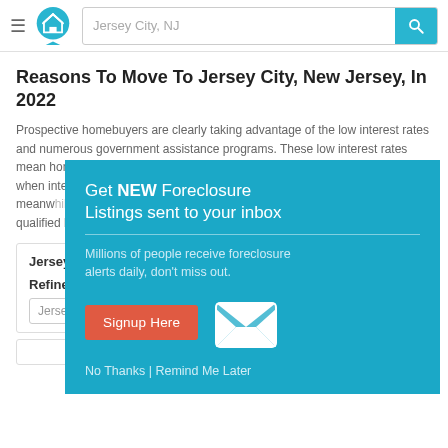Jersey City, NJ [search bar with logo]
Reasons To Move To Jersey City, New Jersey, In 2022
Prospective homebuyers are clearly taking advantage of the low interest rates and numerous government assistance programs. These low interest rates mean homebuyers in Jersey City can now afford much more than they could when interest rates were higher. The number of homes for sale in Jersey City, meanwhile, are at historic lows, leaving qualified buyers.
Jersey City, NJ F...
Refine Search
Jersey City, NJ
[Figure (screenshot): Popup modal overlay with teal background. Headline: Get NEW Foreclosure Listings sent to your inbox. Subtext: Millions of people receive foreclosure alerts daily, don't miss out. Red Signup Here button. Envelope icon. Links: No Thanks | Remind Me Later.]
Get NEW Foreclosure Listings sent to your inbox
Millions of people receive foreclosure alerts daily, don't miss out.
Signup Here
No Thanks | Remind Me Later